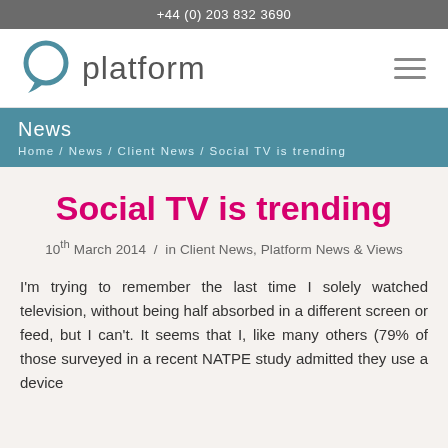+44 (0) 203 832 3690
[Figure (logo): Platform logo: speech bubble icon with the word 'platform' in gray]
News
Home / News / Client News / Social TV is trending
Social TV is trending
10th March 2014  /  in Client News, Platform News & Views
I'm trying to remember the last time I solely watched television, without being half absorbed in a different screen or feed, but I can't. It seems that I, like many others (79% of those surveyed in a recent NATPE study admitted they use a device